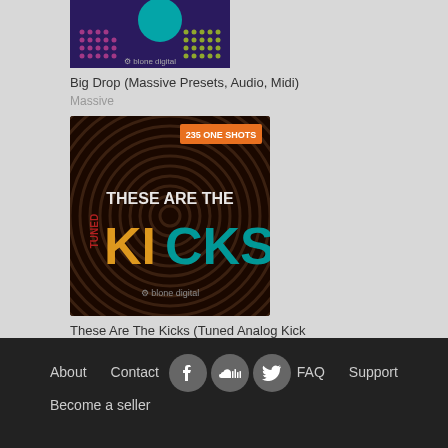[Figure (photo): Product thumbnail for Big Drop (Massive Presets, Audio, Midi) - dark purple background with colorful dot patterns and a teal circle]
Big Drop (Massive Presets, Audio, Midi)
Massive
[Figure (photo): Album art for These Are The Kicks (Tuned Analog Kick Drums) - dark brown background with concentric circles, large colorful KICKS typography, orange badge saying 235 ONE SHOTS, and BLONE DIGITAL logo]
These Are The Kicks (Tuned Analog Kick Drums)
One shot samples, Sampler Patches
About   Contact   FAQ   Support   Become a seller